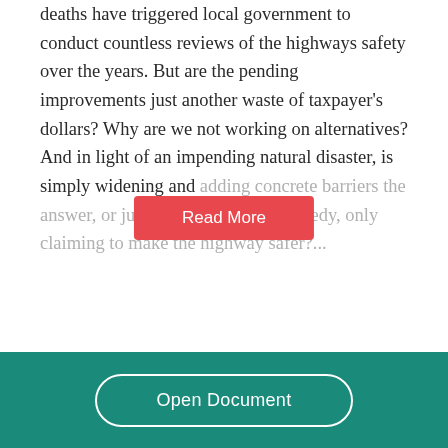deaths have triggered local government to conduct countless reviews of the highways safety over the years. But are the pending improvements just another waste of taxpayer's dollars? Why are we not working on alternatives? And in light of an impending natural disaster, is simply widening and adding concrete barriers the answer, or just another band-aid remedy, only claiming to make the highway safer?...
[Figure (other): Red 'Read More' button overlay on faded text]
Open Document